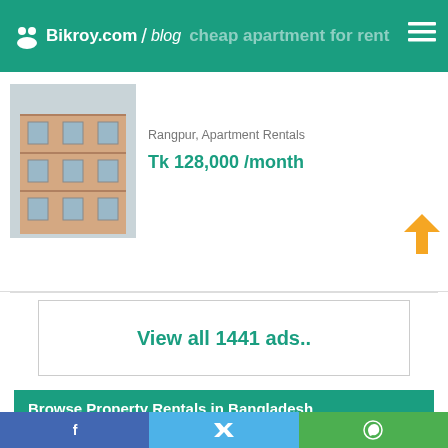Bikroy.com / blog
cheap apartment for rent Rangpur
Rangpur, Apartment Rentals
Tk 128,000 /month
[Figure (photo): Exterior photo of a multi-story apartment building with balconies]
View all 1441 ads..
Browse Property Rentals in Bangladesh
| Property Rentals in Dhaka | Property Rentals in Chattogram |
| Property Rentals in Dhaka Division | Property Rentals in Khulna Division |
Facebook | Twitter | WhatsApp